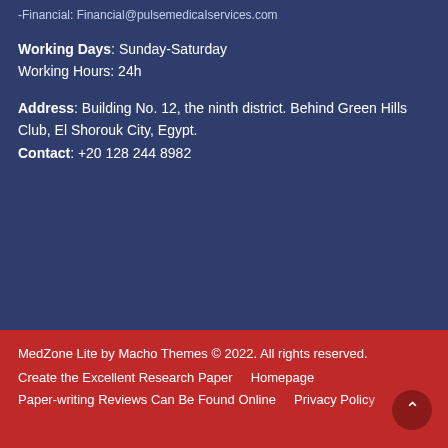-Financial: Financial@pulsemedicaIservices.com
Working Days: Sunday-Saturday
Working Hours: 24h
Address: Building No. 12, the ninth district. Behind Green Hills Club, El Shorouk City, Egypt.
Contact: +20 128 244 8982
MedZone Lite by Macho Themes © 2022. All rights reserved.
Create the Excellent Research Paper    Homepage
Paper-writing Reviews Can Be Found Online    Privacy Policy
Sample Page